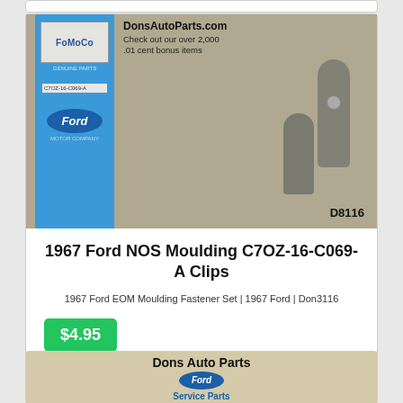[Figure (photo): Product photo of 1967 Ford NOS Moulding C7OZ-16-C069-A Clips showing FoMoCo Ford Motor Company packaging in blue with clips and hardware on a tan background. Text overlay reads DonsAutoParts.com Check out our over 2,000 .01 cent bonus items and D8116 label.]
1967 Ford NOS Moulding C7OZ-16-C069-A Clips
1967 Ford EOM Moulding Fastener Set | 1967 Ford | Don3116
$4.95
[Figure (photo): Bottom of page shows partial product image with Dons Auto Parts Ford Service Parts logo and text .01 Cent Bonus Item]